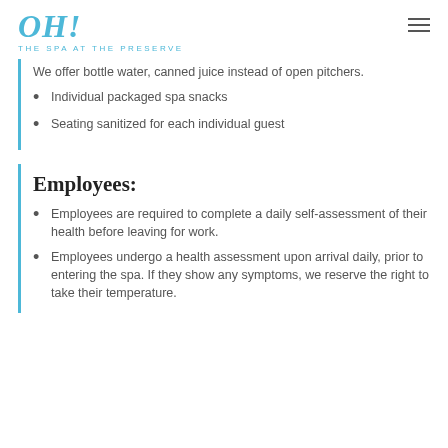OH! THE SPA AT THE PRESERVE
We offer bottle water, canned juice instead of open pitchers.
Individual packaged spa snacks
Seating sanitized for each individual guest
Employees:
Employees are required to complete a daily self-assessment of their health before leaving for work.
Employees undergo a health assessment upon arrival daily, prior to entering the spa. If they show any symptoms, we reserve the right to take their temperature.